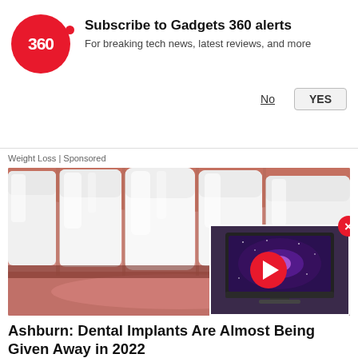[Figure (screenshot): Gadgets 360 notification subscription banner with red circular logo showing '360', subscription prompt text, and No/YES buttons]
Weight Loss | Sponsored
[Figure (photo): Close-up macro photo of white teeth and lips, with a video thumbnail overlay in bottom-right showing a TV displaying galaxy image with a red play button, and a red X close button]
Ashburn: Dental Implants Are Almost Being Given Away in 2022